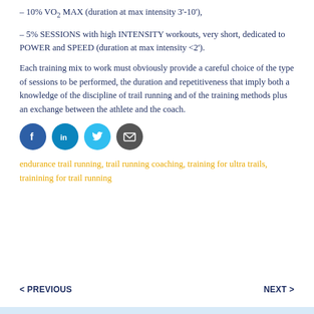– 10% VO2 MAX (duration at max intensity 3'-10'),
– 5% SESSIONS with high INTENSITY workouts, very short, dedicated to POWER and SPEED (duration at max intensity <2').
Each training mix to work must obviously provide a careful choice of the type of sessions to be performed, the duration and repetitiveness that imply both a knowledge of the discipline of trail running and of the training methods plus an exchange between the athlete and the coach.
[Figure (infographic): Social media share icons: Facebook (dark blue circle), LinkedIn (medium blue circle), Twitter (cyan circle), Email (dark grey circle)]
endurance trail running, trail running coaching, training for ultra trails, trainining for trail running
< PREVIOUS    NEXT >